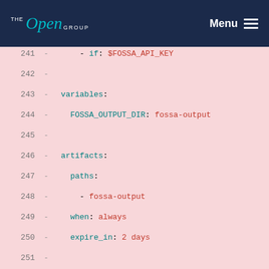THE Open GROUP | Menu
Code listing lines 241-255 showing YAML CI configuration with FOSSA API settings including variables, artifacts, script sections with comments about fossa-with-cache needing CI_COMMIT_BRANCH.